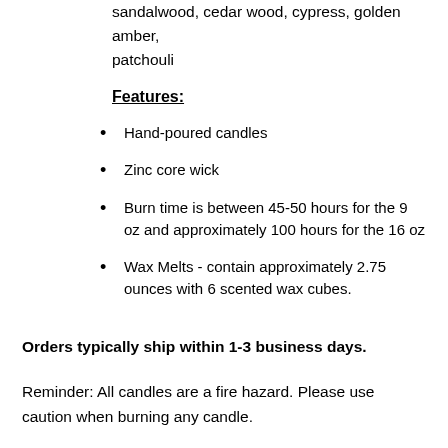sandalwood, cedar wood, cypress, golden amber, patchouli
Features:
Hand-poured candles
Zinc core wick
Burn time is between 45-50 hours for the 9 oz and approximately 100 hours for the 16 oz
Wax Melts - contain approximately 2.75 ounces with 6 scented wax cubes.
Orders typically ship within 1-3 business days.
Reminder: All candles are a fire hazard. Please use caution when burning any candle.